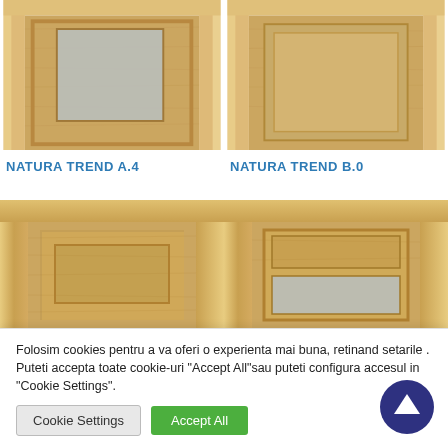[Figure (photo): Close-up photo of a wooden door with glass panel - NATURA TREND A.4]
NATURA TREND A.4
[Figure (photo): Close-up photo of a wooden door with raised panel - NATURA TREND B.0]
NATURA TREND B.0
[Figure (photo): Close-up photo of a wooden door with recessed panel]
[Figure (photo): Close-up photo of a wooden door with glass panel at bottom]
Folosim cookies pentru a va oferi o experienta mai buna, retinand setarile . Puteti accepta toate cookie-uri "Accept All"sau puteti configura accesul in "Cookie Settings".
Cookie Settings
Accept All